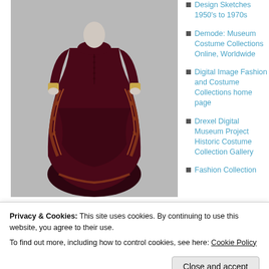[Figure (photo): Victorian-era dark burgundy/maroon dress with ornate gold and red embroidery trim, displayed on a mannequin against a light gray background. The gown features a fitted bodice, long sleeves with lace cuffs, and a bustle-style draped skirt.]
Design Sketches 1950's to 1970s
Demode: Museum Costume Collections Online, Worldwide
Digital Image Fashion and Costume Collections home page
Drexel Digital Museum Project Historic Costume Collection Gallery
Fashion Collection
Privacy & Cookies: This site uses cookies. By continuing to use this website, you agree to their use.
To find out more, including how to control cookies, see here: Cookie Policy
Close and accept
Advertisements